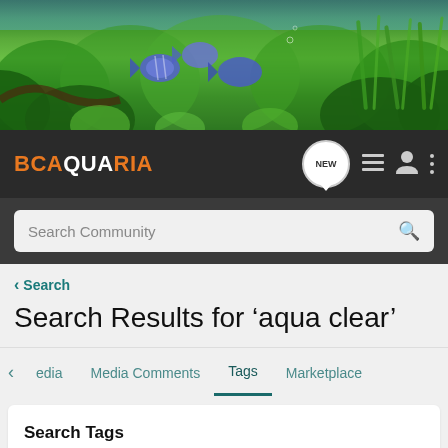[Figure (photo): Aquarium hero banner showing tropical fish and green aquatic plants]
BCAQUARIA — navigation bar with NEW icon, list icon, user icon, and menu icon
Search Community
< Search
Search Results for ‘aqua clear’
Media   Media Comments   Tags   Marketplace
Search Tags
✕ aqua clear   Search